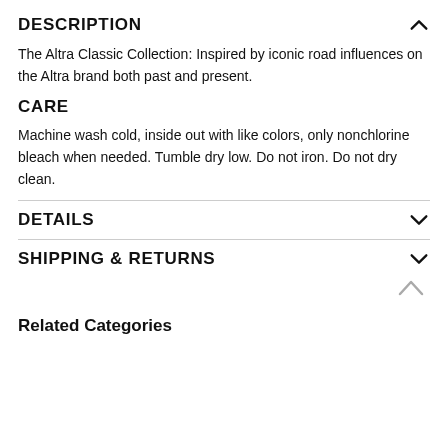DESCRIPTION
The Altra Classic Collection: Inspired by iconic road influences on the Altra brand both past and present.
CARE
Machine wash cold, inside out with like colors, only nonchlorine bleach when needed. Tumble dry low. Do not iron. Do not dry clean.
DETAILS
SHIPPING & RETURNS
Related Categories